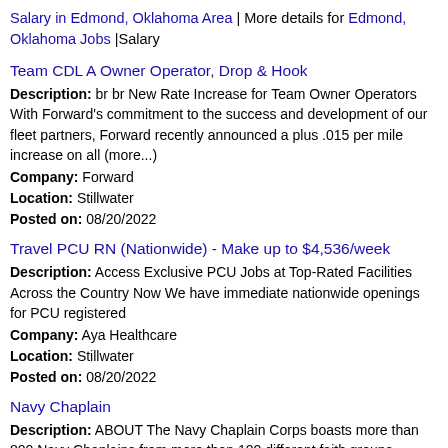Salary in Edmond, Oklahoma Area | More details for Edmond, Oklahoma Jobs |Salary
Team CDL A Owner Operator, Drop & Hook
Description: br br New Rate Increase for Team Owner Operators With Forward's commitment to the success and development of our fleet partners, Forward recently announced a plus .015 per mile increase on all (more...)
Company: Forward
Location: Stillwater
Posted on: 08/20/2022
Travel PCU RN (Nationwide) - Make up to $4,536/week
Description: Access Exclusive PCU Jobs at Top-Rated Facilities Across the Country Now We have immediate nationwide openings for PCU registered
Company: Aya Healthcare
Location: Stillwater
Posted on: 08/20/2022
Navy Chaplain
Description: ABOUT The Navy Chaplain Corps boasts more than 800 Navy Chaplains from more than 100 different faith groups, including